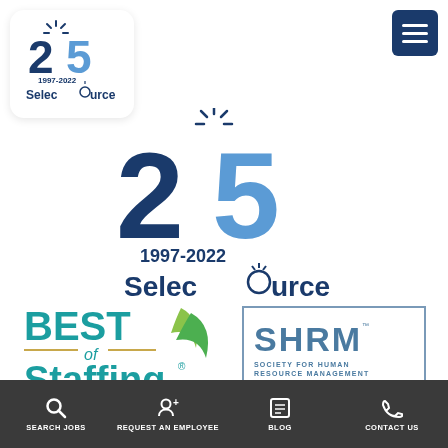[Figure (logo): SelecSource 25th anniversary logo (small, rounded square, top-left). Shows '25' in dark blue with sun rays, '1997-2022' below, 'SelecSource' with lightbulb in 'o'.]
[Figure (logo): SelecSource 25th anniversary logo (large, center). Shows '25' in dark and light blue with sun rays above, '1997-2022' in dark blue, 'SelecSource' with lightbulb in 'o' in dark blue.]
[Figure (logo): Best of Staffing logo in teal/green with leaf graphic.]
[Figure (logo): SHRM - Society for Human Resource Management logo in blue border box.]
SEARCH JOBS | REQUEST AN EMPLOYEE | BLOG | CONTACT US